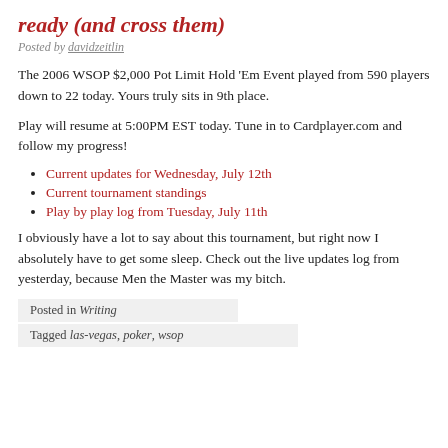ready (and cross them)
Posted by davidzeitlin
The 2006 WSOP $2,000 Pot Limit Hold 'Em Event played from 590 players down to 22 today. Yours truly sits in 9th place.
Play will resume at 5:00PM EST today. Tune in to Cardplayer.com and follow my progress!
Current updates for Wednesday, July 12th
Current tournament standings
Play by play log from Tuesday, July 11th
I obviously have a lot to say about this tournament, but right now I absolutely have to get some sleep. Check out the live updates log from yesterday, because Men the Master was my bitch.
Posted in Writing
Tagged las-vegas, poker, wsop